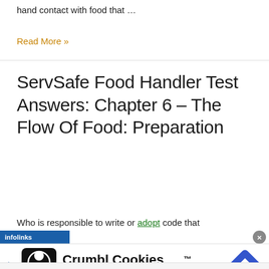hand contact with food that …
Read More »
ServSafe Food Handler Test Answers: Chapter 6 – The Flow Of Food: Preparation
Who is responsible to write or adopt code that
[Figure (screenshot): Infolinks ad label bar (blue background with white 'infolinks' text) overlaid on the page, with a Crumbl Cookies advertisement banner below showing logo, brand name, and location 'Crumbl Cookies - Ashburn' with a blue navigation icon and close button]